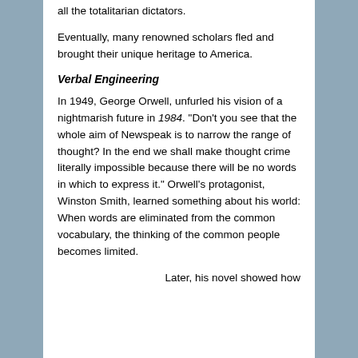all the totalitarian dictators.
Eventually, many renowned scholars fled and brought their unique heritage to America.
Verbal Engineering
In 1949, George Orwell, unfurled his vision of a nightmarish future in 1984. “Don’t you see that the whole aim of Newspeak is to narrow the range of thought? In the end we shall make thought crime literally impossible because there will be no words in which to express it.” Orwell’s protagonist, Winston Smith, learned something about his world: When words are eliminated from the common vocabulary, the thinking of the common people becomes limited.
Later, his novel showed how